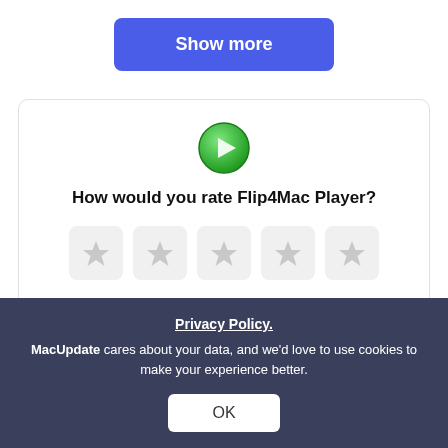[Figure (screenshot): Blue 'Show more' button]
[Figure (screenshot): Rating card with Flip4Mac Player icon, 'How would you rate Flip4Mac Player?' text, and 5 empty star rating boxes]
How would you rate Flip4Mac Player?
Similar apps
[Figure (screenshot): IINA app listing row with icon, name, subtitle, and score badge showing 7]
Privacy Policy.
MacUpdate cares about your data, and we'd love to use cookies to make your experience better.
[Figure (screenshot): OK button for cookie consent overlay]